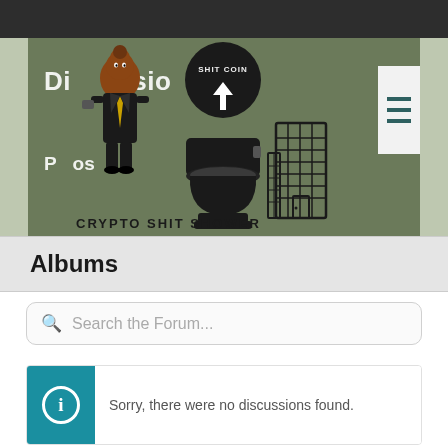[Figure (illustration): Crypto Shit Shower forum banner with poop character in suit, toilet with 'SHIT COIN' ball dropping, and building illustration. Text reads 'CRYPTO SHIT SHOWER'.]
Albums
Search the Forum...
Sorry, there were no discussions found.